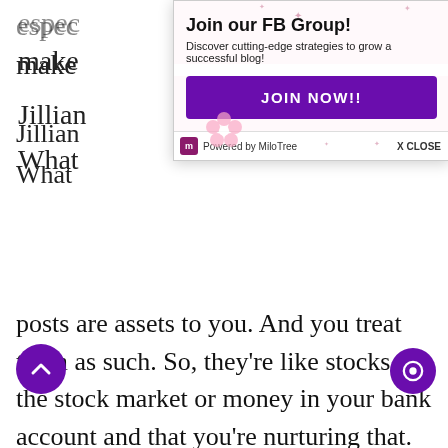posts are assets to you. And you treat them as such. So, they're like stocks in the stock market or money in your bank account and that you're nurturing that.
You're making sure that they keep their value, if not grow in value.
Micaela Preston 15:43
yes, definitely. And it took me a long time to realize that, but now I realize that and I like your
[Figure (screenshot): Popup overlay for Join our FB Group with purple JOIN NOW!! button and MiloTree branding]